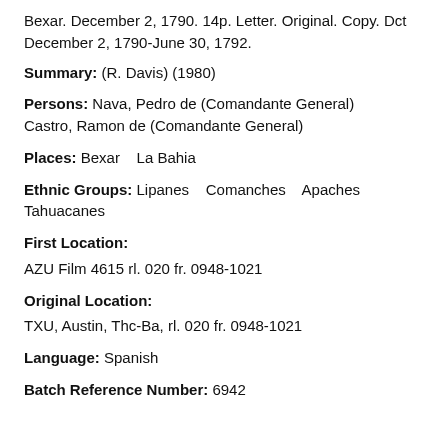Bexar. December 2, 1790. 14p. Letter. Original. Copy. Dct December 2, 1790-June 30, 1792.
Summary: (R. Davis) (1980)
Persons: Nava, Pedro de (Comandante General) Castro, Ramon de (Comandante General)
Places: Bexar   La Bahia
Ethnic Groups: Lipanes   Comanches   Apaches Tahuacanes
First Location:
AZU Film 4615 rl. 020 fr. 0948-1021
Original Location:
TXU, Austin, Thc-Ba, rl. 020 fr. 0948-1021
Language: Spanish
Batch Reference Number: 6942